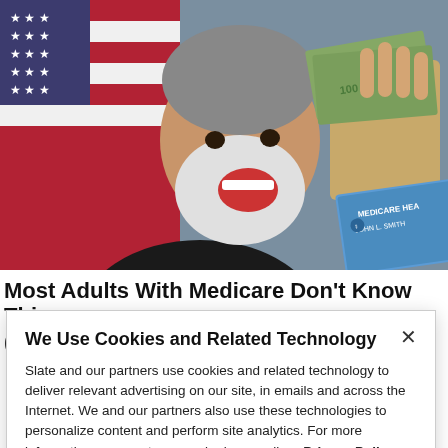[Figure (photo): A bearded older man laughing enthusiastically, holding US dollar bills and a Medicare health insurance card (JOHN L. SMITH), with an American flag in the background.]
Most Adults With Medicare Don't Know This (Check It Now)
We Use Cookies and Related Technology
Slate and our partners use cookies and related technology to deliver relevant advertising on our site, in emails and across the Internet. We and our partners also use these technologies to personalize content and perform site analytics. For more information, see our terms and privacy policy.  Privacy Policy